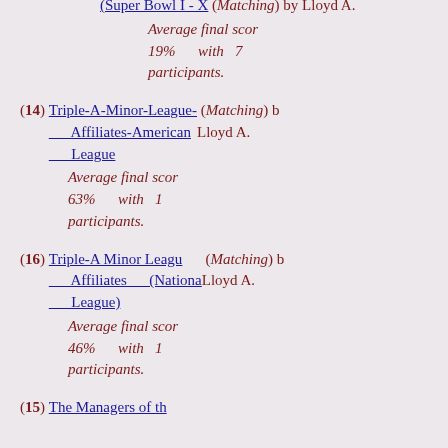(Super Bowl I - X) (Matching) by Lloyd A. Average final score 19% with 7 participants.
(14) Triple-A-Minor-League-Affiliates-American League (Matching) by Lloyd A. Average final score 63% with 1 participants.
(16) Triple-A Minor League Affiliates (National League) (Matching) by Lloyd A. Average final score 46% with 1 participants.
(15) The Managers of th...